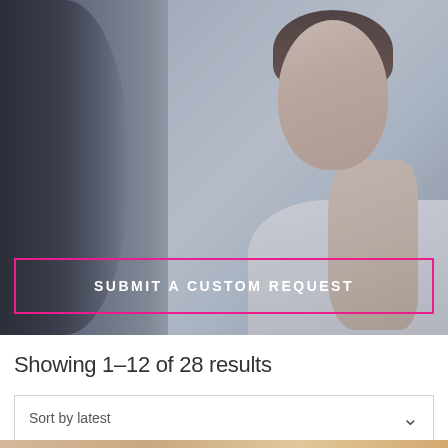[Figure (photo): A woman examining her face in a mirror, with dark blurred figure in foreground left, soft light background. Beauty/skincare context.]
SUBMIT A CUSTOM REQUEST
Showing 1–12 of 28 results
Sort by latest